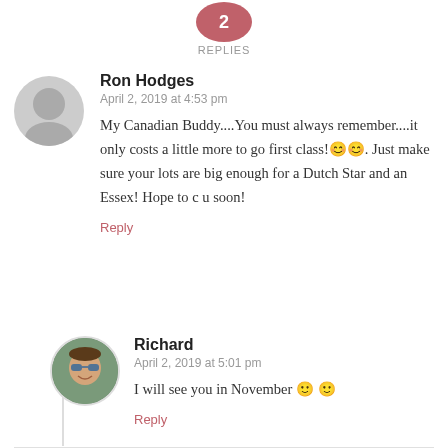[Figure (illustration): Pink/red rounded shape (top of replies button) with REPLIES label beneath]
REPLIES
Ron Hodges
April 2, 2019 at 4:53 pm
My Canadian Buddy....You must always remember....it only costs a little more to go first class!😊😊. Just make sure your lots are big enough for a Dutch Star and an Essex! Hope to c u soon!
Reply
Richard
April 2, 2019 at 5:01 pm
I will see you in November 🙂 🙂
Reply